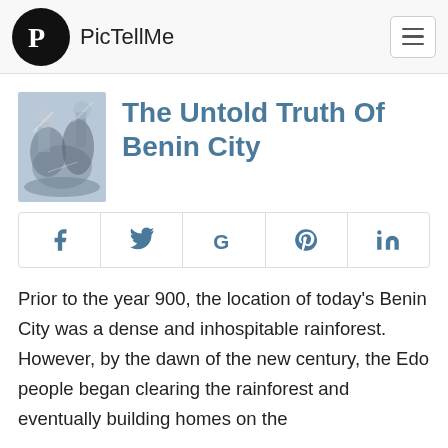PicTellMe
The Untold Truth Of Benin City
[Figure (illustration): Thumbnail illustration depicting historical Benin warriors/figures on horseback]
[Figure (infographic): Social share buttons row: Facebook, Twitter, Google, Pinterest, LinkedIn]
Prior to the year 900, the location of today's Benin City was a dense and inhospitable rainforest. However, by the dawn of the new century, the Edo people began clearing the rainforest and eventually building homes on the